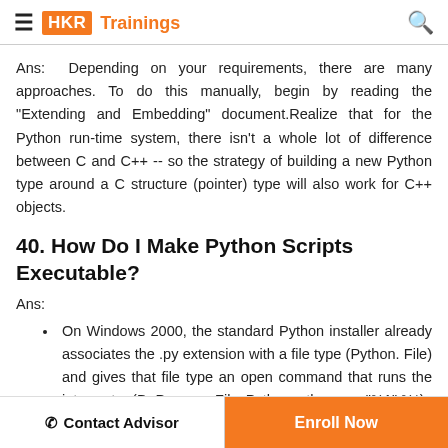HKR Trainings
Ans: Depending on your requirements, there are many approaches. To do this manually, begin by reading the "Extending and Embedding" document.Realize that for the Python run-time system, there isn't a whole lot of difference between C and C++ -- so the strategy of building a new Python type around a C structure (pointer) type will also work for C++ objects.
40. How Do I Make Python Scripts Executable?
Ans:
On Windows 2000, the standard Python installer already associates the .py extension with a file type (Python. File) and gives that file type an open command that runs the interpreter (D: Program FilesPythonpython.exe "%1" %*).
Contact Advisor  Enroll Now